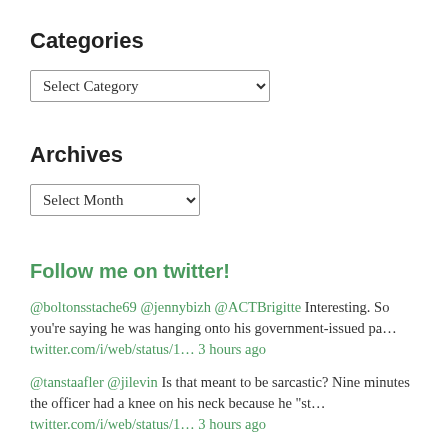Categories
Select Category (dropdown)
Archives
Select Month (dropdown)
Follow me on twitter!
@boltonsstache69 @jennybizh @ACTBrigitte Interesting. So you're saying he was hanging onto his government-issued pa... twitter.com/i/web/status/1... 3 hours ago
@tanstaafler @jilevin Is that meant to be sarcastic? Nine minutes the officer had a knee on his neck because he "st... twitter.com/i/web/status/1... 3 hours ago